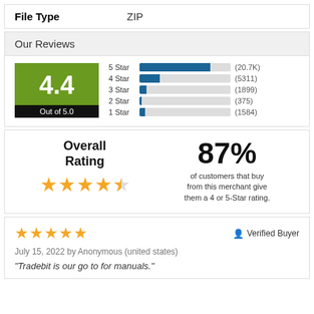| File Type |  |
| --- | --- |
| File Type | ZIP |
Our Reviews
[Figure (bar-chart): 4.4 Out of 5.0]
Overall Rating
87% of customers that buy from this merchant give them a 4 or 5-Star rating.
★★★★★ Verified Buyer
July 15, 2022 by Anonymous (united states)
"Tradebit is our go to for manuals."